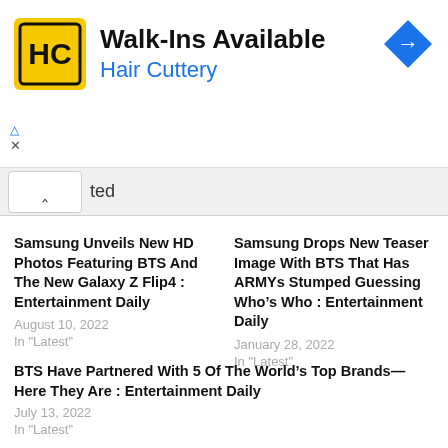[Figure (screenshot): Hair Cuttery advertisement banner with yellow/black HC logo, blue navigation arrow icon, text 'Walk-Ins Available' and 'Hair Cuttery', with ad close controls (triangle and X)]
ted
Samsung Unveils New HD Photos Featuring BTS And The New Galaxy Z Flip4 : Entertainment Daily
August 10, 2022
In "Latest"
Samsung Drops New Teaser Image With BTS That Has ARMYs Stumped Guessing Who’s Who : Entertainment Daily
January 28, 2022
In "Latest"
BTS Have Partnered With 5 Of The World’s Top Brands—Here They Are : Entertainment Daily
July 13, 2022
In "Latest"